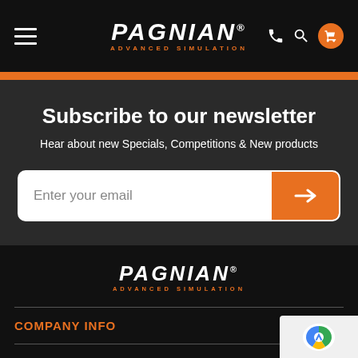[Figure (logo): Pagnian Advanced Simulation logo in white italic bold text with orange subtitle, shown in top navigation header bar]
Pagnian Advanced Simulation navigation header with hamburger menu, logo, phone icon, search icon, and cart icon with orange badge
Subscribe to our newsletter
Hear about new Specials, Competitions & New products
Enter your email
[Figure (logo): Pagnian Advanced Simulation logo in white italic bold text with orange subtitle, shown in footer]
COMPANY INFO
MAIN MENU